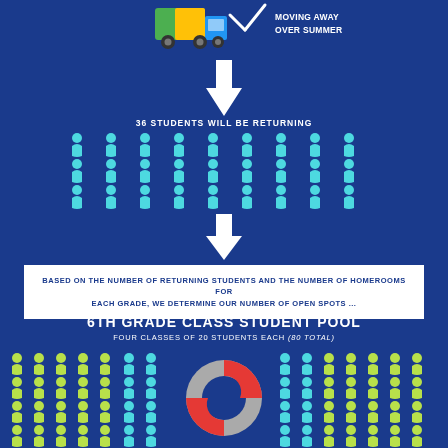[Figure (infographic): Moving truck icon with text 'MOVING AWAY OVER SUMMER' at top]
[Figure (infographic): White downward arrow]
36 STUDENTS WILL BE RETURNING
[Figure (infographic): Grid of 36 teal person icons representing returning students]
[Figure (infographic): White downward arrow]
BASED ON THE NUMBER OF RETURNING STUDENTS AND THE NUMBER OF HOMEROOMS FOR EACH GRADE, WE DETERMINE OUR NUMBER OF OPEN SPOTS ...
NEXT YEAR'S
6TH GRADE CLASS STUDENT POOL
FOUR CLASSES OF 20 STUDENTS EACH (80 TOTAL)
[Figure (infographic): Groups of person icons (yellow-green and teal) with a life preserver ring in the center at bottom]